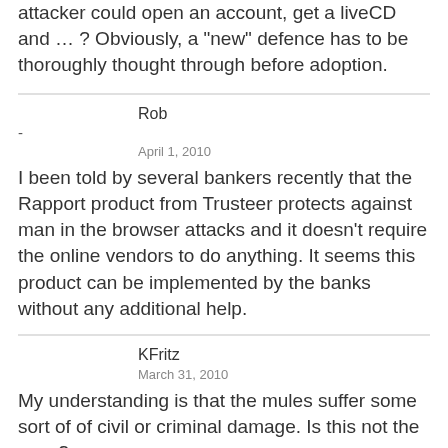attacker could open an account, get a liveCD and … ? Obviously, a “new” defence has to be thoroughly thought through before adoption.
Rob
-
April 1, 2010
I been told by several bankers recently that the Rapport product from Trusteer protects against man in the browser attacks and it doesn't require the online vendors to do anything. It seems this product can be implemented by the banks without any additional help.
KFritz
March 31, 2010
My understanding is that the mules suffer some sort of of civil or criminal damage. Is this not the case?